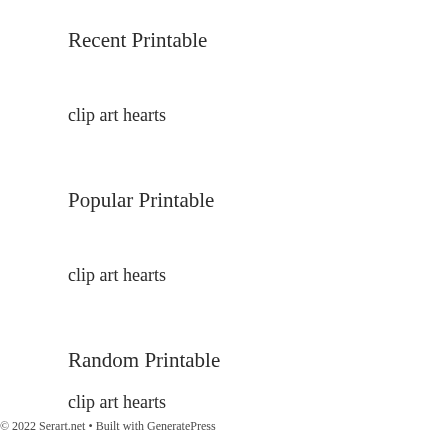Recent Printable
clip art hearts
Popular Printable
clip art hearts
Random Printable
clip art hearts
© 2022 Serart.net • Built with GeneratePress